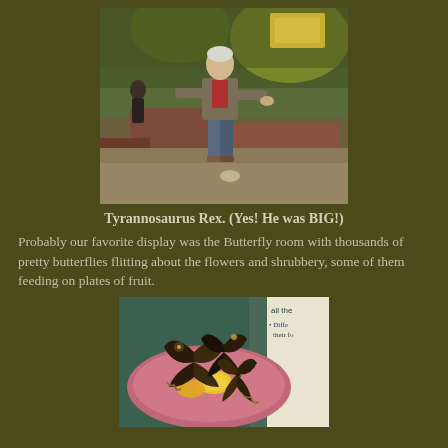[Figure (photo): Person standing in a museum exhibit hall near a Tyrannosaurus Rex display, with murals and exhibit cases visible in the background.]
Tyrannosaurus Rex. (Yes! He was BIG!)
Probably our favorite display was the Butterfly room with thousands of pretty butterflies flitting about the flowers and shrubbery, some of them feeding on plates of fruit.
[Figure (photo): Close-up photo of several large butterflies feeding on a pink plate with pieces of fruit (orange/lemon slices). A museum information sign is partially visible in the upper right corner with text 'all the' and bullet points.]